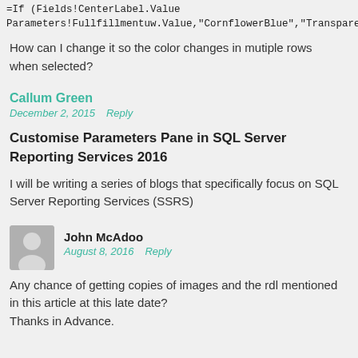=If (Fields!CenterLabel.Value=Parameters!Fullfillmentuw.Value,"CornflowerBlue","Transparent")
How can I change it so the color changes in mutiple rows when selected?
Callum Green
December 2, 2015   Reply
Customise Parameters Pane in SQL Server Reporting Services 2016
I will be writing a series of blogs that specifically focus on SQL Server Reporting Services (SSRS)
John McAdoo
August 8, 2016   Reply
Any chance of getting copies of images and the rdl mentioned in this article at this late date?
Thanks in Advance.